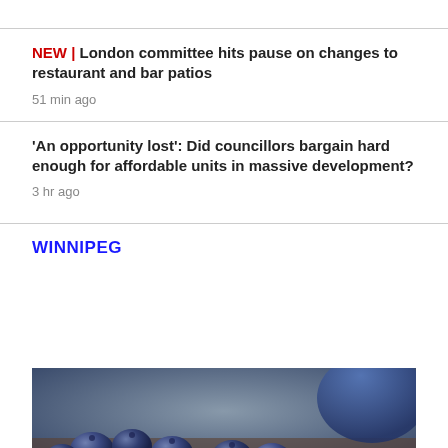NEW | London committee hits pause on changes to restaurant and bar patios
51 min ago
'An opportunity lost': Did councillors bargain hard enough for affordable units in massive development?
3 hr ago
WINNIPEG
[Figure (photo): Close-up photo of blueberries on a wooden surface with a blue bowl in the background]